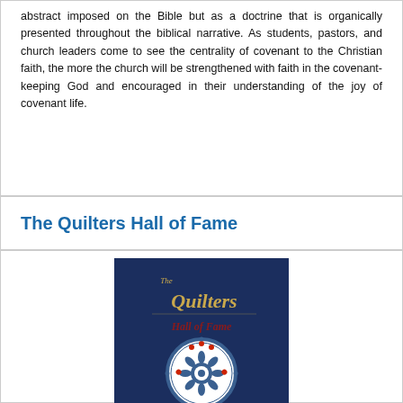abstract imposed on the Bible but as a doctrine that is organically presented throughout the biblical narrative. As students, pastors, and church leaders come to see the centrality of covenant to the Christian faith, the more the church will be strengthened with faith in the covenant-keeping God and encouraged in their understanding of the joy of covenant life.
The Quilters Hall of Fame
[Figure (illustration): Book cover for 'The Quilters Hall of Fame' with dark navy blue background, gold script title text, and a circular quilt pattern at the bottom with blue and white floral/medallion design with red accents.]